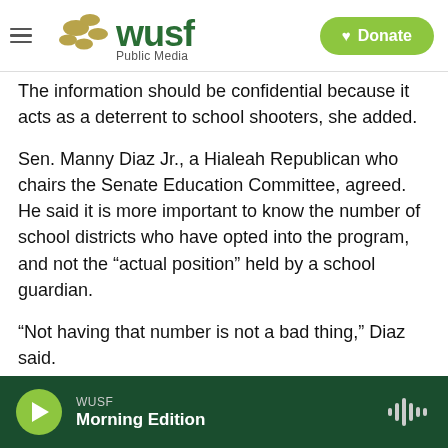WUSF Public Media
The information should be confidential because it acts as a deterrent to school shooters, she added.
Sen. Manny Diaz Jr., a Hialeah Republican who chairs the Senate Education Committee, agreed. He said it is more important to know the number of school districts who have opted into the program, and not the “actual position” held by a school guardian.
“Not having that number is not a bad thing,” Diaz said.
WUSF Morning Edition